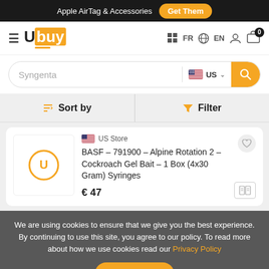Apple AirTag & Accessories  Get Them
[Figure (logo): Ubuy logo — hamburger menu icon left, stylized 'Ubuy' wordmark with orange box, navigation icons FR, EN, user, cart with 0 badge on right]
Syngenta  US  (search bar)
Sort by  Filter
US Store  BASF – 791900 – Alpine Rotation 2 – Cockroach Gel Bait – 1 Box (4x30 Gram) Syringes  € 47
We are using cookies to ensure that we give you the best experience. By continuing to use this site, you agree to our policy. To read more about how we use cookies read our Privacy Policy
Close